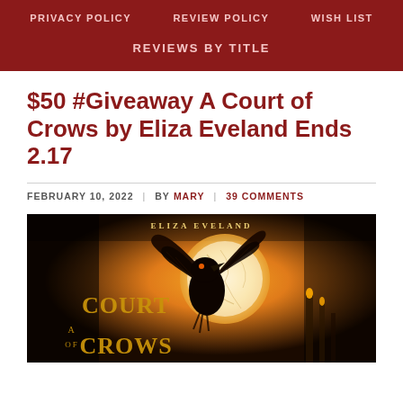PRIVACY POLICY   REVIEW POLICY   WISH LIST   REVIEWS BY TITLE
$50 #Giveaway A Court of Crows by Eliza Eveland Ends 2.17
FEBRUARY 10, 2022 | BY MARY | 39 COMMENTS
[Figure (illustration): Book cover of 'A Court of Crows' by Eliza Eveland, showing a dark crow/raven spreading wings against a glowing orange background with architectural elements]